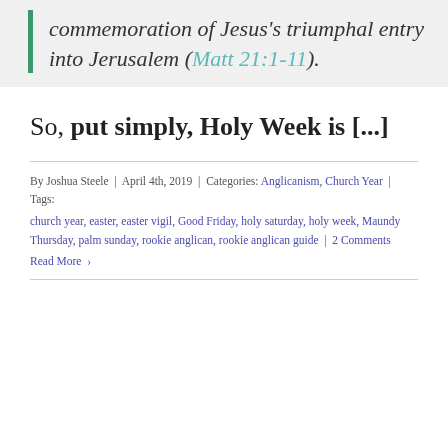commemoration of Jesus's triumphal entry into Jerusalem (Matt 21:1-11).
So, put simply, Holy Week is [...]
By Joshua Steele | April 4th, 2019 | Categories: Anglicanism, Church Year | Tags: church year, easter, easter vigil, Good Friday, holy saturday, holy week, Maundy Thursday, palm sunday, rookie anglican, rookie anglican guide | 2 Comments
Read More >